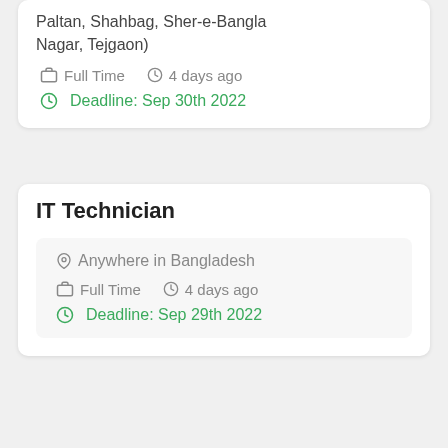Paltan, Shahbag, Sher-e-Bangla Nagar, Tejgaon)
Full Time   4 days ago
Deadline: Sep 30th 2022
IT Technician
Anywhere in Bangladesh
Full Time   4 days ago
Deadline: Sep 29th 2022